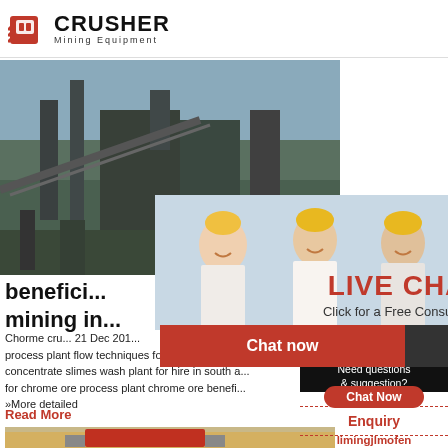CRUSHER Mining Equipment
[Figure (photo): Industrial mining facility with conveyor belts and steel structure]
benefici... mining in...
Chorme cru... 21 Dec 201... process plant flow techniques for sale ferrochro... concentrate slimes wash plant for hire in south a... for chrome ore process plant chrome ore benefic... »More detailed
Read More
[Figure (photo): Mobile crusher machine with red equipment on sandy ground]
[Figure (photo): Live chat popup with workers in yellow hard hats]
LIVE CHAT
Click for a Free Consultation
Chat now    Chat later
24Hrs Online
[Figure (photo): Customer service representative with headset]
Need questions & suggestion?
Chat Now
Enquiry
limingjlmofen@sina.com